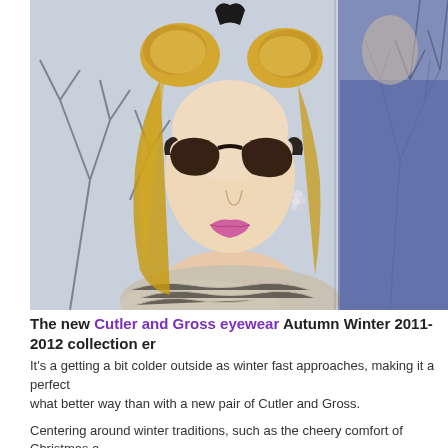[Figure (photo): Fashion campaign photo showing a blonde woman with vintage-styled hair buns wearing large dark cat-eye sunglasses, crystal earrings, and a fur stole, posed against a misty winter tree backdrop. A second partially visible figure appears at the far right edge.]
The new Cutler and Gross eyewear Autumn Winter 2011-2012 collection er...
It's a getting a bit colder outside as winter fast approaches, making it a perfect ... what better way than with a new pair of Cutler and Gross.
Centering around winter traditions, such as the cheery comfort of Christmas a... campaign evokes a nostalgia perfectly befitting their timeless style... New glass...